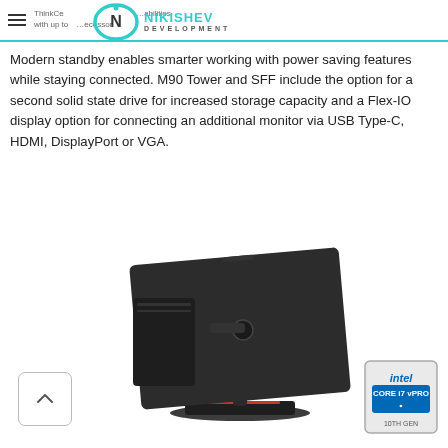ThinkCentre … capabilities with up to … processor
[Figure (logo): Nikishev Development logo with stylized N inside a circle and teal ring]
Modern standby enables smarter working with power saving features while staying connected. M90 Tower and SFF include the option for a second solid state drive for increased storage capacity and a Flex-IO display option for connecting an additional monitor via USB Type-C, HDMI, DisplayPort or VGA.
[Figure (photo): Lenovo ThinkCentre computer with monitor on adjustable stand, viewed from the back/side angle, showing SFF unit attached to monitor arm]
[Figure (logo): Intel Core i7 vPro 10th Gen badge]